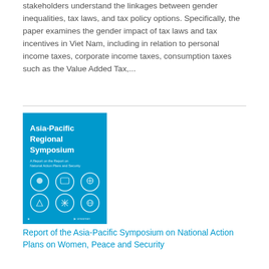stakeholders understand the linkages between gender inequalities, tax laws, and tax policy options. Specifically, the paper examines the gender impact of tax laws and tax incentives in Viet Nam, including in relation to personal income taxes, corporate income taxes, consumption taxes such as the Value Added Tax,...
[Figure (illustration): Book cover for Asia-Pacific Regional Symposium report, cyan/teal blue background with white text and circular icons]
Report of the Asia-Pacific Symposium on National Action Plans on Women, Peace and Security
Date: Wednesday, 7 December 2016
The Asia Pacific Regional Symposium on National Action Plans for Women, Peace and Security gathered over 80 experts from 17 countries to consider the regional thematic and emerging priorities for NAPs-WPS and to evaluate how NAPs-WPS can benefit women affected by conflict. This Symposium Report concludes that effective NAPs-WPS are driven by strong leadership and must be accompanied by financing and localization strategies, and robust monitoring and evaluation systems. Most importantly, the